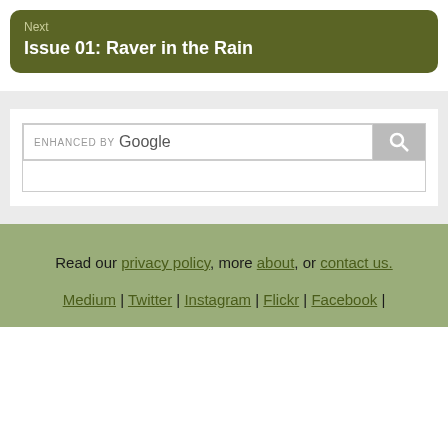Next
Issue 01: Raver in the Rain
[Figure (screenshot): Google enhanced search widget with input box and search button]
Read our privacy policy, more about, or contact us. Medium | Twitter | Instagram | Flickr | Facebook |